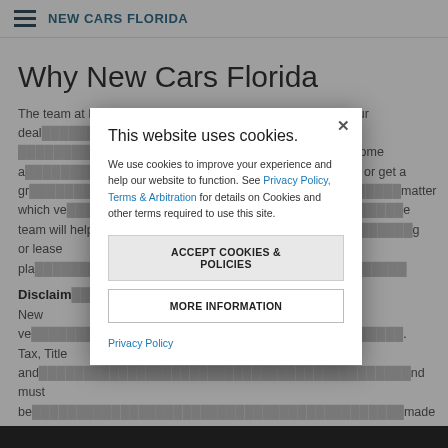NEW CARS FLORIDA
Why New Cars Florida
The team at New Cars Florida would like to welcome you to our deal… that you'll find the… n afford. Come a… es, or get a gr… matter which ve… e team will help… g or lease pla…
Disclaim…
New ve… Tax, Title and… nd must be… made
This website uses cookies.
We use cookies to improve your experience and help our website to function. See Privacy Policy, Terms & Arbitration for details on Cookies and other terms required to use this site.
ACCEPT COOKIES & POLICIES
MORE INFORMATION
Privacy Policy